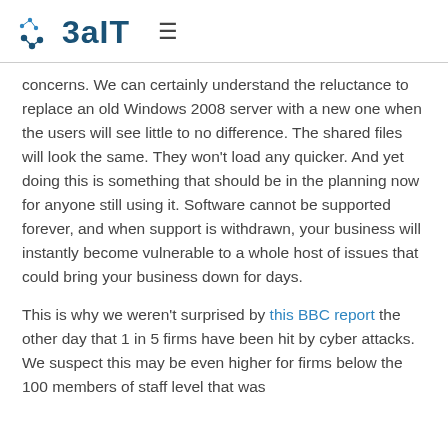3aIT
concerns. We can certainly understand the reluctance to replace an old Windows 2008 server with a new one when the users will see little to no difference. The shared files will look the same. They won't load any quicker. And yet doing this is something that should be in the planning now for anyone still using it. Software cannot be supported forever, and when support is withdrawn, your business will instantly become vulnerable to a whole host of issues that could bring your business down for days.
This is why we weren't surprised by this BBC report the other day that 1 in 5 firms have been hit by cyber attacks. We suspect this may be even higher for firms below the 100 members of staff level that was